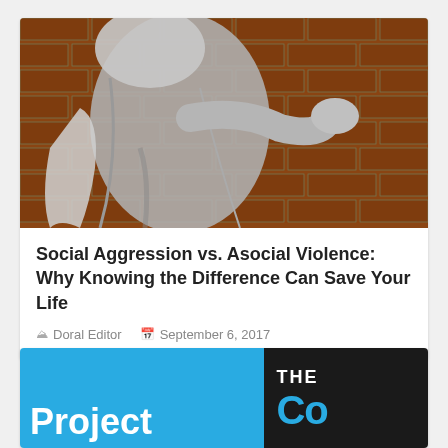[Figure (photo): Black and white photo of a person in a hoodie being grabbed or pushed against a red brick wall, suggesting physical aggression or violence.]
Social Aggression vs. Asocial Violence: Why Knowing the Difference Can Save Your Life
Doral Editor   September 6, 2017
[Figure (photo): Partial view of a second article card: left half is blue with large white text 'Project', right half is black with teal/cyan text showing 'THE Co' (partially cut off).]